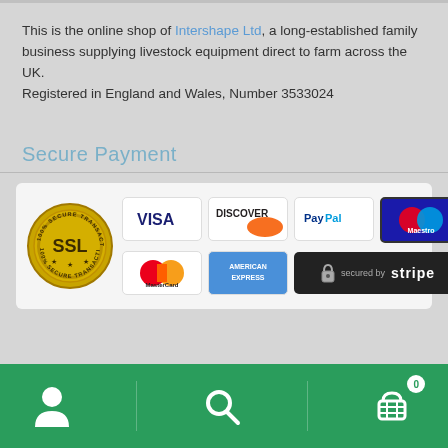This is the online shop of Intershape Ltd, a long-established family business supplying livestock equipment direct to farm across the UK.
Registered in England and Wales, Number 3533024
Secure Payment
[Figure (infographic): Secure payment logos panel showing SSL badge, VISA, Discover, PayPal, Maestro, MasterCard, American Express, and Secured by Stripe banner]
User icon | Search icon | Cart icon with badge 0